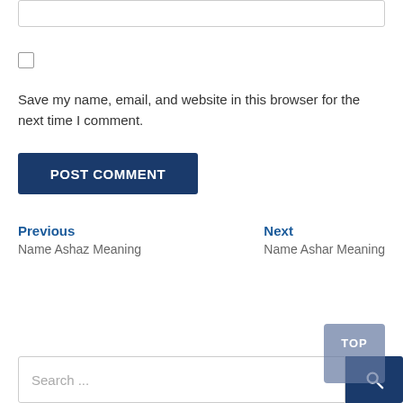[Figure (screenshot): Text input box (form field) at the top of the page]
[Figure (screenshot): Checkbox for saving name, email, and website]
Save my name, email, and website in this browser for the next time I comment.
POST COMMENT
Previous
Name Ashaz Meaning
Next
Name Ashar Meaning
TOP
Search ...